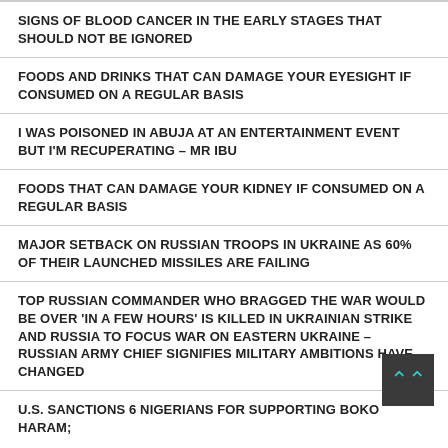SIGNS OF BLOOD CANCER IN THE EARLY STAGES THAT SHOULD NOT BE IGNORED
FOODS AND DRINKS THAT CAN DAMAGE YOUR EYESIGHT IF CONSUMED ON A REGULAR BASIS
I WAS POISONED IN ABUJA AT AN ENTERTAINMENT EVENT BUT I'M RECUPERATING – MR IBU
FOODS THAT CAN DAMAGE YOUR KIDNEY IF CONSUMED ON A REGULAR BASIS
MAJOR SETBACK ON RUSSIAN TROOPS IN UKRAINE AS 60% OF THEIR LAUNCHED MISSILES ARE FAILING
TOP RUSSIAN COMMANDER WHO BRAGGED THE WAR WOULD BE OVER 'IN A FEW HOURS' IS KILLED IN UKRAINIAN STRIKE AND RUSSIA TO FOCUS WAR ON EASTERN UKRAINE – RUSSIAN ARMY CHIEF SIGNIFIES MILITARY AMBITIONS HAVE CHANGED
U.S. SANCTIONS 6 NIGERIANS FOR SUPPORTING BOKO HARAM;